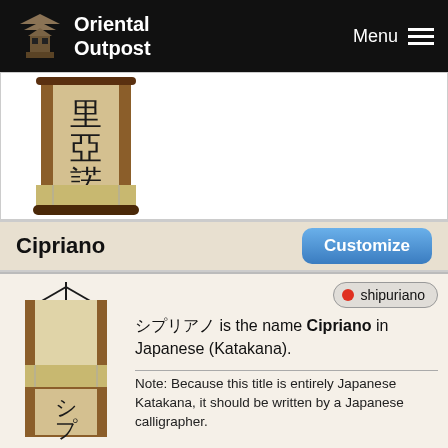Oriental Outpost | Menu
[Figure (illustration): Japanese calligraphy scroll showing Chinese characters for a name, partially visible]
Cipriano
Customize
shipuriano
シプリアノ is the name Cipriano in Japanese (Katakana).
Note: Because this title is entirely Japanese Katakana, it should be written by a Japanese calligrapher.